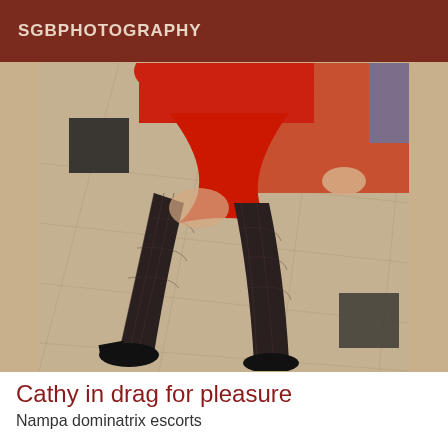SGBPHOTOGRAPHY
[Figure (photo): A person wearing a red dress and fishnet stockings with black high heels, photographed from the waist down in an indoor setting with a tiled floor and a red/orange couch or bench visible in the background.]
Cathy in drag for pleasure
Nampa dominatrix escorts